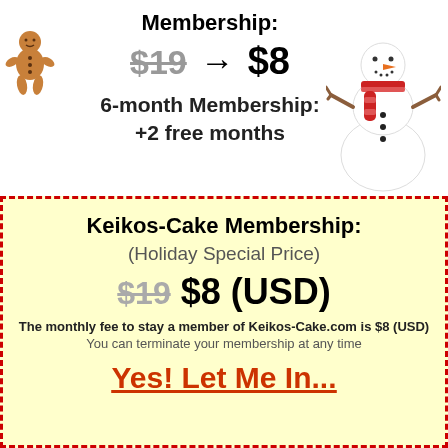Membership:
$19 → $8
6-month Membership: +2 free months
[Figure (illustration): Cartoon gingerbread man illustration on left side]
[Figure (illustration): Cartoon snowman with red scarf on right side]
Keikos-Cake Membership:
(Holiday Special Price)
$19 $8 (USD)
The monthly fee to stay a member of Keikos-Cake.com is $8 (USD)
You can terminate your membership at any time
Yes! Let Me In...